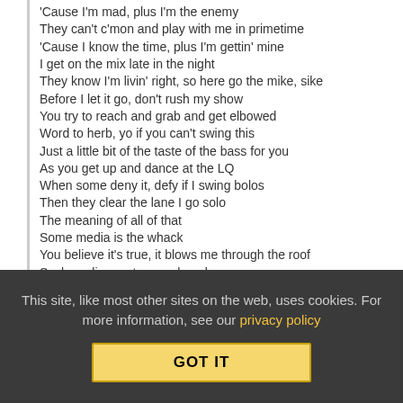'Cause I'm mad, plus I'm the enemy
They can't c'mon and play with me in primetime
'Cause I know the time, plus I'm gettin' mine
I get on the mix late in the night
They know I'm livin' right, so here go the mike, sike
Before I let it go, don't rush my show
You try to reach and grab and get elbowed
Word to herb, yo if you can't swing this
Just a little bit of the taste of the bass for you
As you get up and dance at the LQ
When some deny it, defy if I swing bolos
Then they clear the lane I go solo
The meaning of all of that
Some media is the whack
You believe it's true, it blows me through the roof
Suckers, liars get me a shovel
Some writers I know are damn devils
This site, like most other sites on the web, uses cookies. For more information, see our privacy policy
GOT IT